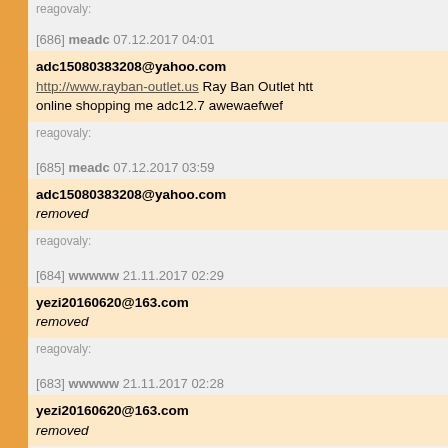reagovaly:
[686] meadc 07.12.2017 04:01
adc15080383208@yahoo.com http://www.rayban-outlet.us Ray Ban Outlet htt... online shopping me adc12.7 awewaefwef
reagovaly:
[685] meadc 07.12.2017 03:59
adc15080383208@yahoo.com removed
reagovaly:
[684] wwwww 21.11.2017 02:29
yezi20160620@163.com removed
reagovaly:
[683] wwwww 21.11.2017 02:28
yezi20160620@163.com removed
reagovaly: